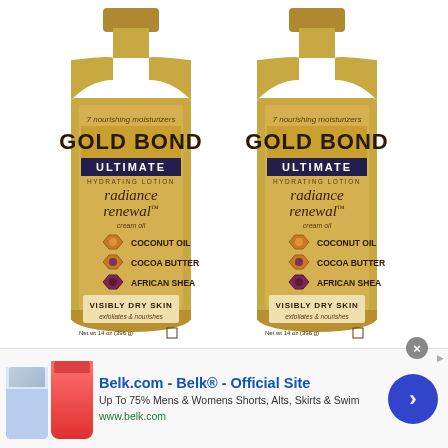[Figure (photo): Two Gold Bond Ultimate Radiance Renewal Hydrating Lotion bottles (cream oil) with coconut oil, cocoa butter, and African shea. Net wt 14 oz (396g). 7 nourishing moisturizers. Visibly dry skin, exfoliates & nourishes.]
[Figure (infographic): Advertisement banner for Belk.com - Belk® Official Site. Up To 75% Mens & Womens Shorts, Alts, Skirts & Swim. www.belk.com. Shows clothing images and a blue arrow circle button.]